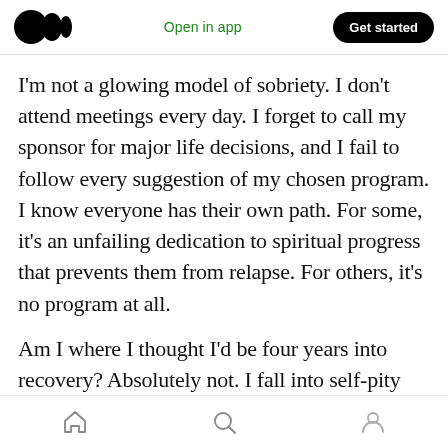Medium logo | Open in app | Get started
I'm not a glowing model of sobriety. I don't attend meetings every day. I forget to call my sponsor for major life decisions, and I fail to follow every suggestion of my chosen program. I know everyone has their own path. For some, it's an unfailing dedication to spiritual progress that prevents them from relapse. For others, it's no program at all.
Am I where I thought I'd be four years into recovery? Absolutely not. I fall into self-pity and doubt. I lash out. When I feel myself losing it, I try
Home | Search | Profile